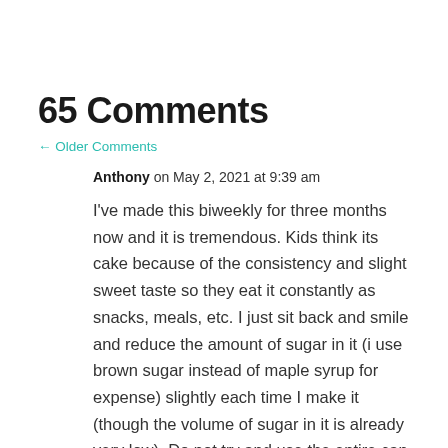65 Comments
← Older Comments
Anthony on May 2, 2021 at 9:39 am
I've made this biweekly for three months now and it is tremendous. Kids think its cake because of the consistency and slight sweet taste so they eat it constantly as snacks, meals, etc. I just sit back and smile and reduce the amount of sugar in it (i use brown sugar instead of maple syrup for expense) slightly each time I make it (though the volume of sugar in it is already very low). Do not try and use the entire can of pumpkin puree to get rid